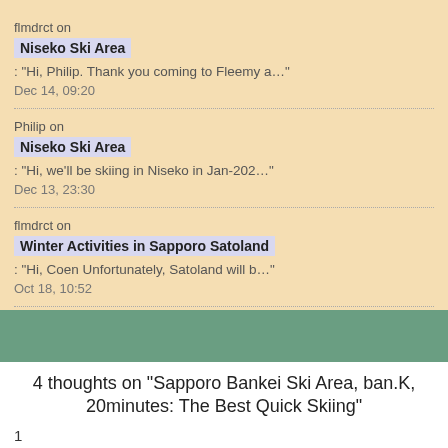flmdrct on
Niseko Ski Area
: "Hi, Philip. Thank you coming to Fleemy a…"
Dec 14, 09:20
Philip on
Niseko Ski Area
: "Hi, we'll be skiing in Niseko in Jan-202…"
Dec 13, 23:30
flmdrct on
Winter Activities in Sapporo Satoland
: "Hi, Coen Unfortunately, Satoland will b…"
Oct 18, 10:52
4 thoughts on “Sapporo Bankei Ski Area, ban.K, 20minutes: The Best Quick Skiing”
1